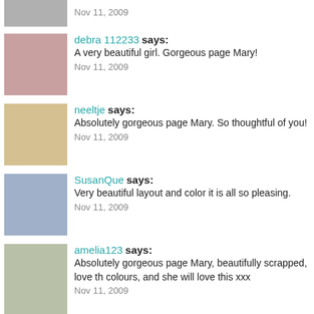Nov 11, 2009
debra 112233 says: A very beautiful girl. Gorgeous page Mary! Nov 11, 2009
neeltje says: Absolutely gorgeous page Mary. So thoughtful of you! Nov 11, 2009
SusanQue says: Very beautiful layout and color it is all so pleasing. Nov 11, 2009
amelia123 says: Absolutely gorgeous page Mary, beautifully scrapped, love the colours, and she will love this xxx Nov 11, 2009
Scrappy Lou says: Wow, I just know Kate is going to love this. Beautiful... Nov 11, 2009
Miyako says: Wow!! Kate's daughter is really beautiful!! And your LO is just perfect in higlighting her beauty!! :) Nov 10, 2009
savannah's grand mawmaw says: so beautiful Nov 10, 2009